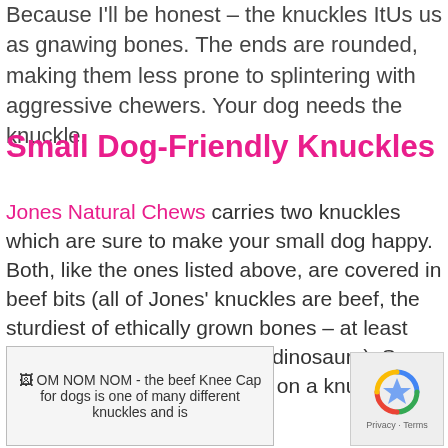Because I'll be honest – the knuckles ItUs us as gnawing bones. The ends are rounded, making them less prone to splintering with aggressive chewers. Your dog needs the knuckle.
Small Dog-Friendly Knuckles
Jones Natural Chews carries two knuckles which are sure to make your small dog happy. Both, like the ones listed above, are covered in beef bits (all of Jones' knuckles are beef, the sturdiest of ethically grown bones – at least until science starts breeding dinosaurs). Say hello to a small dog gnawing on a knuckle:
[Figure (photo): Image placeholder showing OM NOM NOM - the beef Knee Cap for dogs is one of many different knuckles and is...]
[Figure (other): reCAPTCHA badge with Privacy and Terms links]